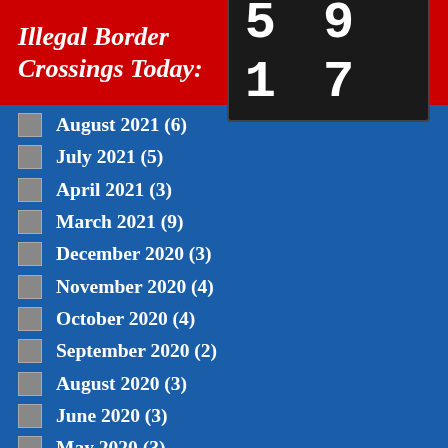Illegal Border Crossings Today: 5917
August 2021 (6)
July 2021 (5)
April 2021 (3)
March 2021 (9)
December 2020 (3)
November 2020 (4)
October 2020 (4)
September 2020 (2)
August 2020 (3)
June 2020 (3)
May 2020 (3)
April 2020 (9)
March 2020 (2)
January 2020 (4)